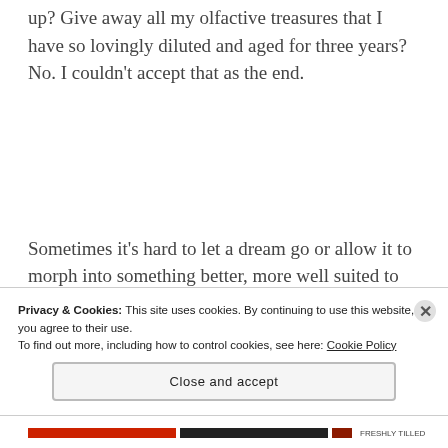up? Give away all my olfactive treasures that I have so lovingly diluted and aged for three years? No. I couldn't accept that as the end.
Sometimes it's hard to let a dream go or allow it to morph into something better, more well suited to who you are now.
Privacy & Cookies: This site uses cookies. By continuing to use this website, you agree to their use.
To find out more, including how to control cookies, see here: Cookie Policy
Close and accept